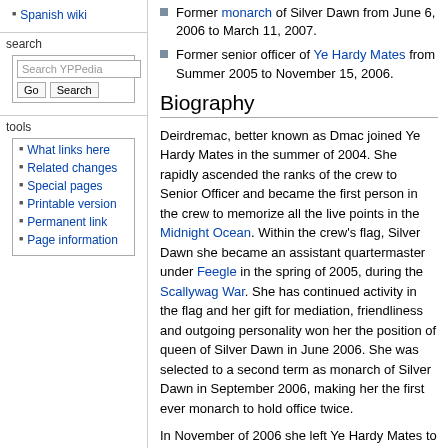Spanish wiki
search
What links here
Related changes
Special pages
Printable version
Permanent link
Page information
Former monarch of Silver Dawn from June 6, 2006 to March 11, 2007.
Former senior officer of Ye Hardy Mates from Summer 2005 to November 15, 2006.
Biography
Deirdremac, better known as Dmac joined Ye Hardy Mates in the summer of 2004. She rapidly ascended the ranks of the crew to Senior Officer and became the first person in the crew to memorize all the live points in the Midnight Ocean. Within the crew's flag, Silver Dawn she became an assistant quartermaster under Feegle in the spring of 2005, during the Scallywag War. She has continued activity in the flag and her gift for mediation, friendliness and outgoing personality won her the position of queen of Silver Dawn in June 2006. She was selected to a second term as monarch of Silver Dawn in September 2006, making her the first ever monarch to hold office twice.
In November of 2006 she left Ye Hardy Mates to join the Soaring Gulls, as her former crew...